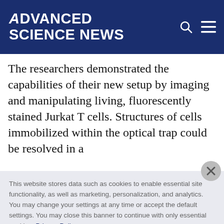ADVANCED SCIENCE NEWS
The researchers demonstrated the capabilities of their new setup by imaging and manipulating living, fluorescently stained Jurkat T cells. Structures of cells immobilized within the optical trap could be resolved in a
This website stores data such as cookies to enable essential site functionality, as well as marketing, personalization, and analytics. You may change your settings at any time or accept the default settings. You may close this banner to continue with only essential cookies. Privacy Policy
Manage Preferences
Accept All
Reject All